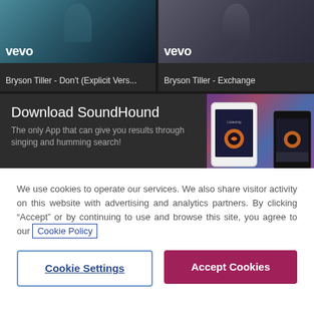[Figure (screenshot): Two Vevo music video thumbnails side by side. Left: Bryson Tiller - Don't (Explicit Vers...). Right: Bryson Tiller - Exchange. Both show person silhouettes with Vevo logo.]
[Figure (screenshot): SoundHound app promotion banner with text 'Download SoundHound' and 'The only App that can give you results through singing and humming search!' alongside phones showing the SoundHound app.]
We use cookies to operate our services. We also share visitor activity on this website with advertising and analytics partners. By clicking “Accept” or by continuing to use and browse this site, you agree to our Cookie Policy
Cookie Settings
Accept Cookies